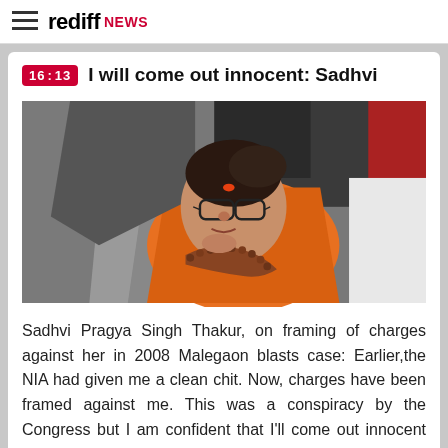rediff NEWS
I will come out innocent: Sadhvi
[Figure (photo): Photo of Sadhvi Pragya Singh Thakur wearing glasses and saffron/orange clothing with a bead necklace, surrounded by people in a crowd setting]
Sadhvi Pragya Singh Thakur, on framing of charges against her in 2008 Malegaon blasts case: Earlier,the NIA had given me a clean chit. Now, charges have been framed against me. This was a conspiracy by the Congress but I am confident that I'll come out innocent as the truth always wins.